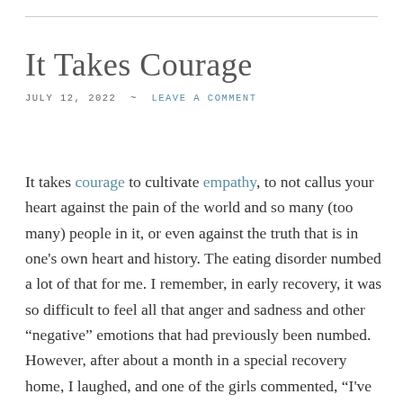It Takes Courage
JULY 12, 2022  ~  LEAVE A COMMENT
It takes courage to cultivate empathy, to not callus your heart against the pain of the world and so many (too many) people in it, or even against the truth that is in one's own heart and history. The eating disorder numbed a lot of that for me. I remember, in early recovery, it was so difficult to feel all that anger and sadness and other "negative" emotions that had previously been numbed. However, after about a month in a special recovery home, I laughed, and one of the girls commented, "I've never seen you look so